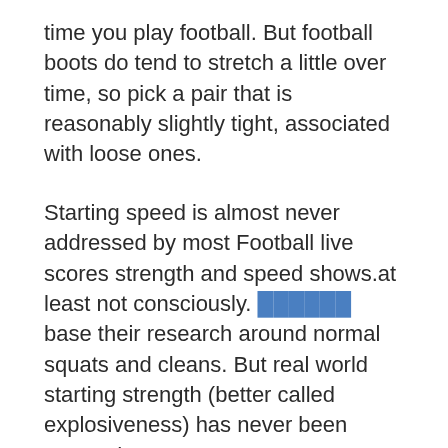time you play football. But football boots do tend to stretch a little over time, so pick a pair that is reasonably slightly tight, associated with loose ones.
Starting speed is almost never addressed by most Football live scores strength and speed shows.at least not consciously. ██████ base their research around normal squats and cleans. But real world starting strength (better called explosiveness) has never been covered.
Just what factors shall we be held talking close to? Well, the player roster is one. Every game will dsicover not only a new starting pitcher, but a new relief staff as thoroughly. The pitchers can make all primary in a